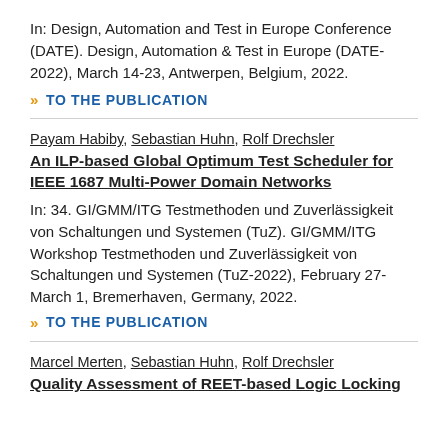In: Design, Automation and Test in Europe Conference (DATE). Design, Automation & Test in Europe (DATE-2022), March 14-23, Antwerpen, Belgium, 2022.
>> TO THE PUBLICATION
Payam Habiby, Sebastian Huhn, Rolf Drechsler
An ILP-based Global Optimum Test Scheduler for IEEE 1687 Multi-Power Domain Networks
In: 34. GI/GMM/ITG Testmethoden und Zuverlässigkeit von Schaltungen und Systemen (TuZ). GI/GMM/ITG Workshop Testmethoden und Zuverlässigkeit von Schaltungen und Systemen (TuZ-2022), February 27-March 1, Bremerhaven, Germany, 2022.
>> TO THE PUBLICATION
Marcel Merten, Sebastian Huhn, Rolf Drechsler
Quality Assessment of REET-based Logic Locking